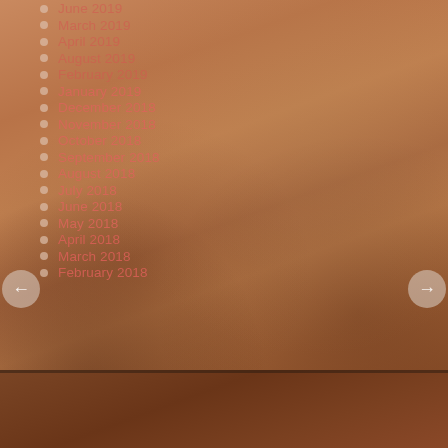June 2019
March 2019
April 2019
August 2019
February 2019
January 2019
December 2018
November 2018
October 2018
September 2018
August 2018
July 2018
June 2018
May 2018
April 2018
March 2018
February 2018